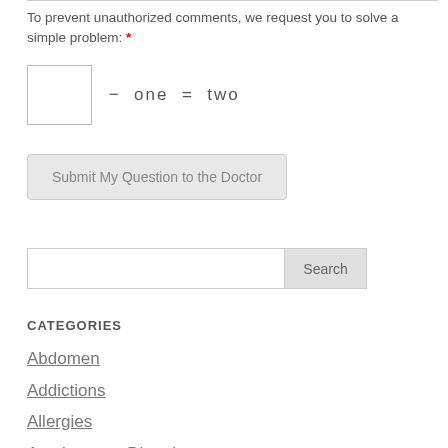To prevent unauthorized comments, we request you to solve a simple problem: *
[ ] − one = two
Submit My Question to the Doctor
Search
CATEGORIES
Abdomen
Addictions
Allergies
Autoimmune Disorders
Back and Neck